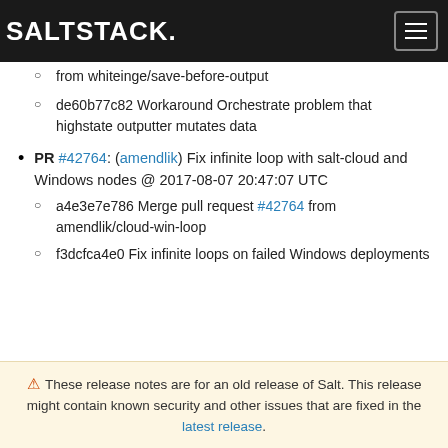SALTSTACK.
from whiteinge/save-before-output
de60b77c82 Workaround Orchestrate problem that highstate outputter mutates data
PR #42764: (amendlik) Fix infinite loop with salt-cloud and Windows nodes @ 2017-08-07 20:47:07 UTC
a4e3e7e786 Merge pull request #42764 from amendlik/cloud-win-loop
f3dcfca4e0 Fix infinite loops on failed Windows deployments
⚠ These release notes are for an old release of Salt. This release might contain known security and other issues that are fixed in the latest release.